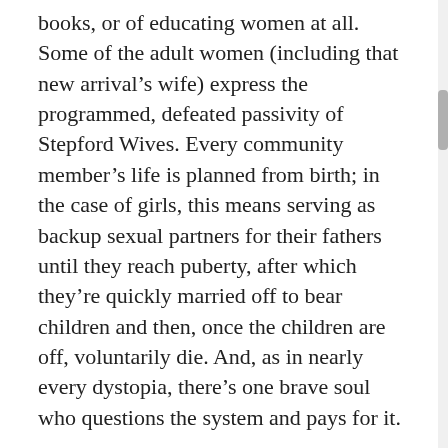books, or of educating women at all. Some of the adult women (including that new arrival’s wife) express the programmed, defeated passivity of Stepford Wives. Every community member’s life is planned from birth; in the case of girls, this means serving as backup sexual partners for their fathers until they reach puberty, after which they’re quickly married off to bear children and then, once the children are off, voluntarily die. And, as in nearly every dystopia, there’s one brave soul who questions the system and pays for it.
The grim nightmare of Melamed’s vision is unarguably powerful, and the horror of several passages is viscerally effective (though at other times the language sometimes slips